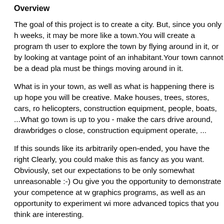Overview
The goal of this project is to create a city. But, since you only h weeks, it may be more like a town.You will create a program th user to explore the town by flying around in it, or by looking at vantage point of an inhabitant.Your town cannot be a dead pla must be things moving around in it.
What is in your town, as well as what is happening there is up hope you will be creative. Make houses, trees, stores, cars, ro helicopters, construction equipment, people, boats, ...What go town is up to you - make the cars drive around, drawbridges o close, construction equipment operate, ...
If this sounds like its arbitrarily open-ended, you have the right Clearly, you could make this as fancy as you want. Obviously, set our expectations to be only somewhat unreasonable :-) Ou give you the opportunity to demonstrate your competence at w graphics programs, as well as an opportunity to experiment wi more advanced topics that you think are interesting.
The basic requirements are very simple. You should try to ach a manner that provides flexibility so you can add fancier featur permits. In terms of which fancier features to implement? You the things that are most interesting to you. We will give you lot